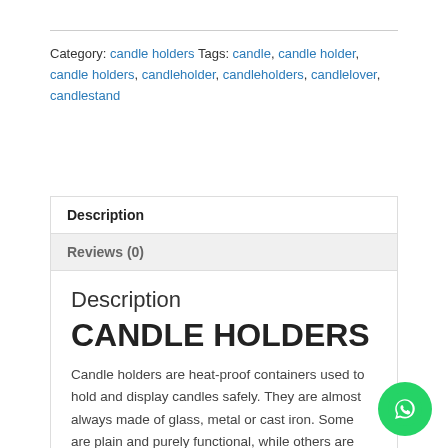Category: candle holders Tags: candle, candle holder, candle holders, candleholder, candleholders, candlelover, candlestand
Description
Reviews (0)
Description
CANDLE HOLDERS
Candle holders are heat-proof containers used to hold and display candles safely. They are almost always made of glass, metal or cast iron. Some are plain and purely functional, while others are decorative and